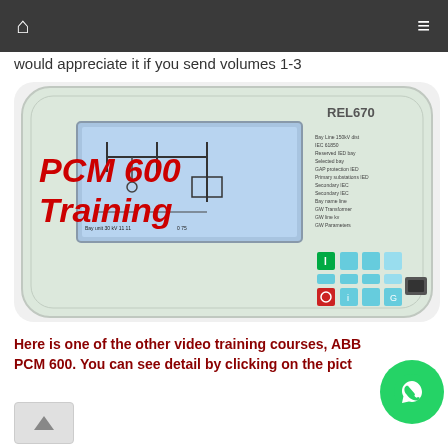Navigation bar with home and menu icons
would appreciate it if you send volumes 1-3
[Figure (photo): ABB REL670 relay device with PCM 600 Training text in red on the front panel, showing a display screen with electrical schematic diagram and control buttons]
Here is one of the other video training courses, ABB PCM 600. You can see detail by clicking on the pict